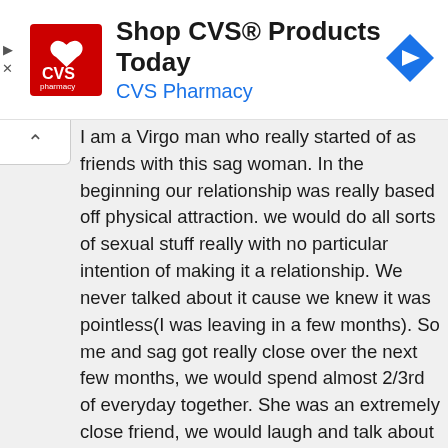[Figure (illustration): CVS Pharmacy advertisement banner with CVS logo, text 'Shop CVS® Products Today' and 'CVS Pharmacy', and a blue navigation arrow icon on the right.]
I am a Virgo man who really started of as friends with this sag woman. In the beginning our relationship was really based off physical attraction. we would do all sorts of sexual stuff really with no particular intention of making it a relationship. We never talked about it cause we knew it was pointless(I was leaving in a few months). So me and sag got really close over the next few months, we would spend almost 2/3rd of everyday together. She was an extremely close friend, we would laugh and talk about almost anything . She had this thing were she could make someone feel special, she always came to see me. Until one unfaithful